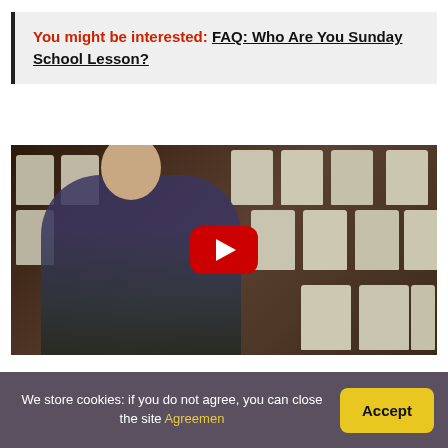You might be interested:  FAQ: Who Are You Sunday School Lesson?
[Figure (screenshot): YouTube video thumbnail showing a man sitting among empty white chairs in a room, with a red YouTube play button overlay in the center]
How do you write a Bible
We store cookies: if you do not agree, you can close the site Agreement